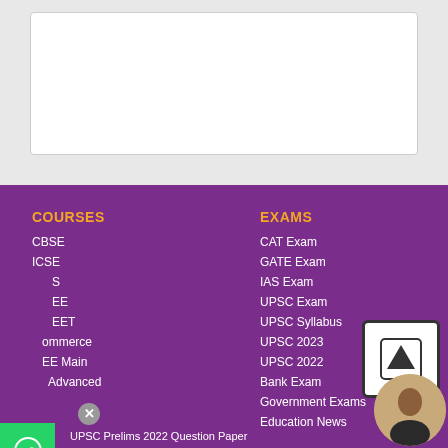[Figure (screenshot): White content box on grey background at top of page]
COURSES
CBSE
ICSE
JEE
NEET
Commerce
JEE Main
JEE Advanced
UPSC Prelims 2022 Question Paper
EXAMS
CAT Exam
GATE Exam
IAS Exam
UPSC Exam
UPSC Syllabus
UPSC 2023
UPSC 2022
Bank Exam
Government Exams
Education News